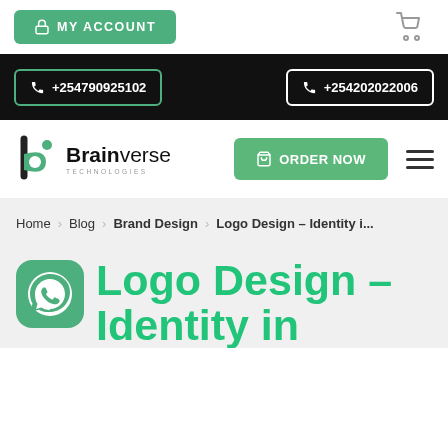[Figure (screenshot): MY ACCOUNT button (green) and cart icon on white top bar]
[Figure (screenshot): Black phone bar with two phone number buttons: +254790925102 (green border) and +254202022006 (white border)]
[Figure (logo): Brainverse Technologies logo with stylized 'b' icon in black and green]
[Figure (screenshot): ORDER NOW green button and hamburger menu icon]
Home > Blog > Brand Design > Logo Design – Identity i...
Logo Design – Identity in